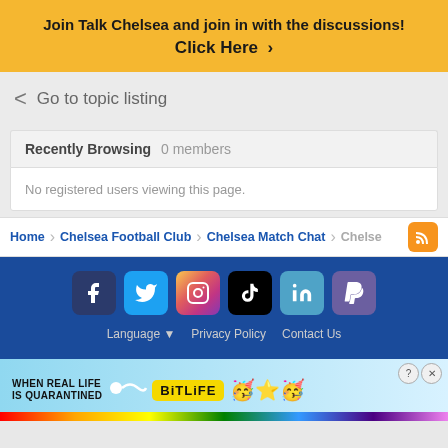Join Talk Chelsea and join in with the discussions! Click Here ›
‹  Go to topic listing
Recently Browsing   0 members
No registered users viewing this page.
Home  ›  Chelsea Football Club  ›  Chelsea Match Chat  ›  Chelse...
[Figure (screenshot): Social media icons: Facebook, Twitter, Instagram, TikTok, LinkedIn, PayPal]
Language ▾   Privacy Policy   Contact Us
[Figure (illustration): Advertisement banner for BitLife app: When Real Life Is Quarantined, BitLife logo with emoji characters]